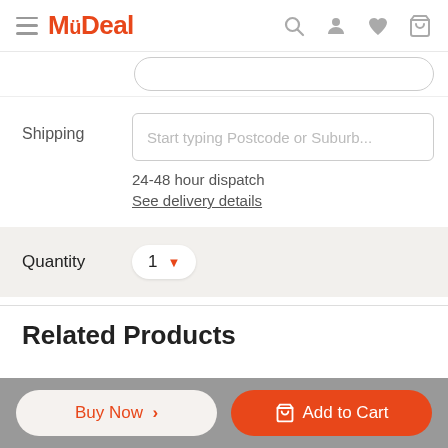MyDeal
Shipping   Start typing Postcode or Suburb...
24-48 hour dispatch
See delivery details
Quantity   1
Related Products
Buy Now >   Add to Cart